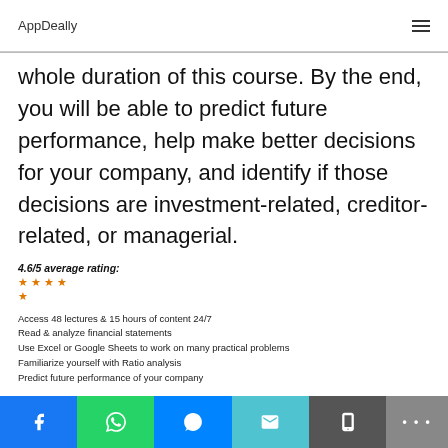AppDeally
whole duration of this course. By the end, you will be able to predict future performance, help make better decisions for your company, and identify if those decisions are investment-related, creditor-related, or managerial.
4.6/5 average rating: ★ ★ ★ ★ ★
Access 48 lectures & 15 hours of content 24/7
Read & analyze financial statements
Use Excel or Google Sheets to work on many practical problems
Familiarize yourself with Ratio analysis
Predict future performance of your company